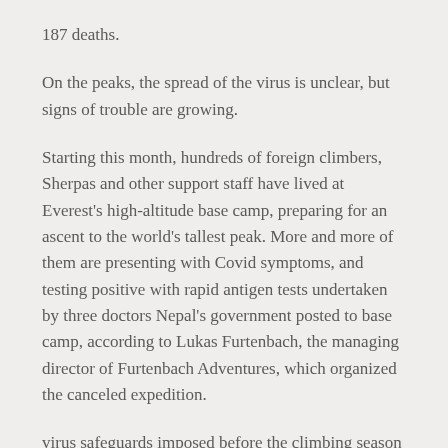187 deaths.
On the peaks, the spread of the virus is unclear, but signs of trouble are growing.
Starting this month, hundreds of foreign climbers, Sherpas and other support staff have lived at Everest's high-altitude base camp, preparing for an ascent to the world's tallest peak. More and more of them are presenting with Covid symptoms, and testing positive with rapid antigen tests undertaken by three doctors Nepal's government posted to base camp, according to Lukas Furtenbach, the managing director of Furtenbach Adventures, which organized the canceled expedition.
virus safeguards imposed before the climbing season